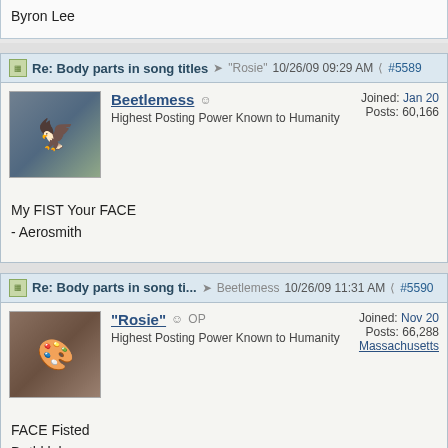Byron Lee
Re: Body parts in song titles — "Rosie" — 10/26/09 09:29 AM — #5589
Beetlemess — Highest Posting Power Known to Humanity — Joined: Jan 20 — Posts: 60,166
My FIST Your FACE
- Aerosmith
Re: Body parts in song ti... — Beetlemess — 10/26/09 11:31 AM — #5590
"Rosie" OP — Highest Posting Power Known to Humanity — Joined: Nov 20 — Posts: 66,288 — Massachusetts
FACE Fisted
Dethklok